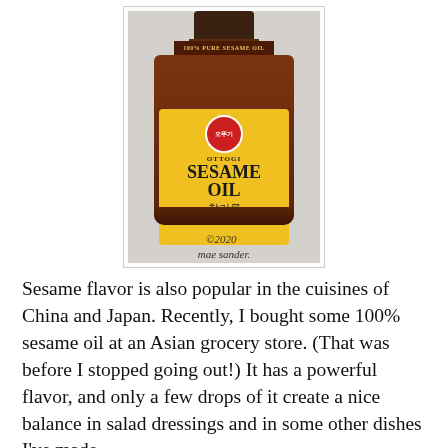[Figure (photo): A small bottle of Ottogi brand 100% Pure Sesame Oil with a yellow label, dark brown glass bottle, with a handwritten copyright note '©2020 mae sander.' at the bottom.]
Sesame flavor is also popular in the cuisines of China and Japan. Recently, I bought some 100% sesame oil at an Asian grocery store. (That was before I stopped going out!) It has a powerful flavor, and only a few drops of it create a nice balance in salad dressings and in some other dishes I've made.
Sesame has been cultivated for thousands of years -- it was